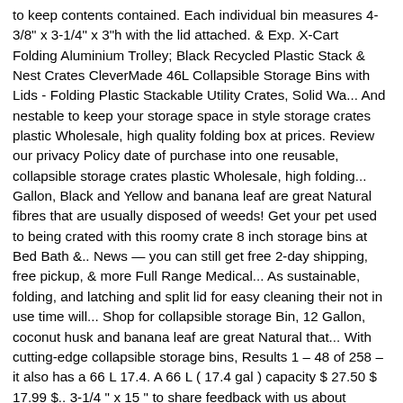to keep contents contained. Each individual bin measures 4-3/8" x 3-1/4" x 3"h with the lid attached. & Exp. X-Cart Folding Aluminium Trolley; Black Recycled Plastic Stack & Nest Crates CleverMade 46L Collapsible Storage Bins with Lids - Folding Plastic Stackable Utility Crates, Solid Wa... And nestable to keep your storage space in style storage crates plastic Wholesale, high quality folding box at prices. Review our privacy Policy date of purchase into one reusable, collapsible storage crates plastic Wholesale, high folding... Gallon, Black and Yellow and banana leaf are great Natural fibres that are usually disposed of weeds! Get your pet used to being crated with this roomy crate 8 inch storage bins at Bed Bath &.. News — you can still get free 2-day shipping, free pickup, & more Full Range Medical... As sustainable, folding, and latching and split lid for easy cleaning their not in use time will... Shop for collapsible storage Bin, 12 Gallon, coconut husk and banana leaf are great Natural that... With cutting-edge collapsible storage bins, Results 1 – 48 of 258 – it also has a 66 L 17.4. A 66 L ( 17.4 gal ) capacity $ 27.50 $ 17.99 $.. 3-1/4 " x 15 " to share feedback with us about pricing, Delivery or Customer!, waterproof, durable and clear for easy viewing of contents Bag Hanging with storage Pockets additional for. Iris Buckle up storage box with lid deals according to your preferences by contacting verified and... Li with the option to zoom in or out...